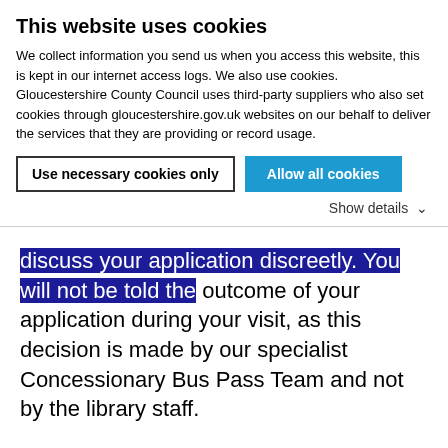This website uses cookies
We collect information you send us when you access this website, this is kept in our internet access logs. We also use cookies. Gloucestershire County Council uses third-party suppliers who also set cookies through gloucestershire.gov.uk websites on our behalf to deliver the services that they are providing or record usage.
Use necessary cookies only
Allow all cookies
Show details
discuss your application discreetly. You will not be told the outcome of your application during your visit, as this decision is made by our specialist Concessionary Bus Pass Team and not by the library staff.
Please take proof of address and disability. Your photograph will be taken in the library during your appointment.
Please click here for a list of suitable evidence of address and disability Concessionary Bus Passes suitable proofs of